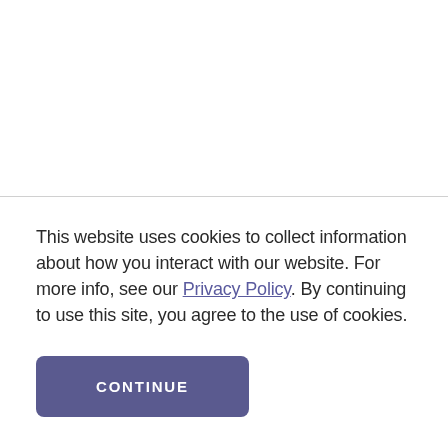This website uses cookies to collect information about how you interact with our website. For more info, see our Privacy Policy. By continuing to use this site, you agree to the use of cookies.
CONTINUE